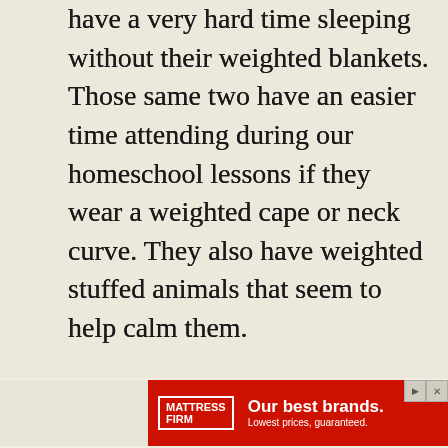have a very hard time sleeping without their weighted blankets. Those same two have an easier time attending during our homeschool lessons if they wear a weighted cape or neck curve. They also have weighted stuffed animals that seem to help calm them.
There are tutorials available that walk you through making your own weighted blanket. (hint: click that highlighted text to take you to a list of online tutorials) There are also tutorials for making your own weighted vests.
[Figure (other): Mattress Firm advertisement banner with red background, white text reading 'Our best brands. Lowest prices, guaranteed.' with play and close buttons.]